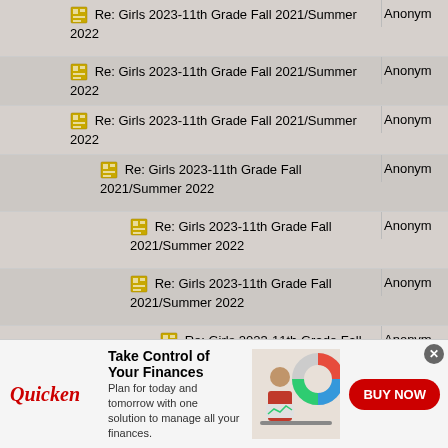Re: Girls 2023-11th Grade Fall 2021/Summer 2022 | Anonymous
Re: Girls 2023-11th Grade Fall 2021/Summer 2022 | Anonymous
Re: Girls 2023-11th Grade Fall 2021/Summer 2022 | Anonymous
Re: Girls 2023-11th Grade Fall 2021/Summer 2022 | Anonymous
Re: Girls 2023-11th Grade Fall 2021/Summer 2022 | Anonymous
Re: Girls 2023-11th Grade Fall 2021/Summer 2022 | Anonymous
Re: Girls 2023-11th Grade Fall 2021/Summer 2022 | Anonymous
Re: Girls 2023-11th Grade Fall 2021/Summer 2022 | Anonymous
Re: Girls 2023-11th Grade Fall 2021/Summer 2022 | Anonymous
[Figure (screenshot): Quicken advertisement banner: Take Control of Your Finances. Plan for today and tomorrow with one solution to manage all your finances. BUY NOW button.]